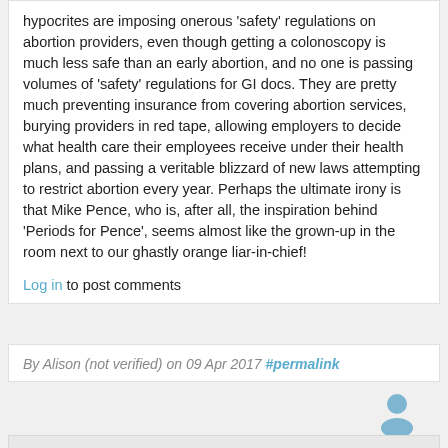hypocrites are imposing onerous 'safety' regulations on abortion providers, even though getting a colonoscopy is much less safe than an early abortion, and no one is passing volumes of 'safety' regulations for GI docs. They are pretty much preventing insurance from covering abortion services, burying providers in red tape, allowing employers to decide what health care their employees receive under their health plans, and passing a veritable blizzard of new laws attempting to restrict abortion every year. Perhaps the ultimate irony is that Mike Pence, who is, after all, the inspiration behind 'Periods for Pence', seems almost like the grown-up in the room next to our ghastly orange liar-in-chief!
Log in to post comments
By Alison (not verified) on 09 Apr 2017 #permalink